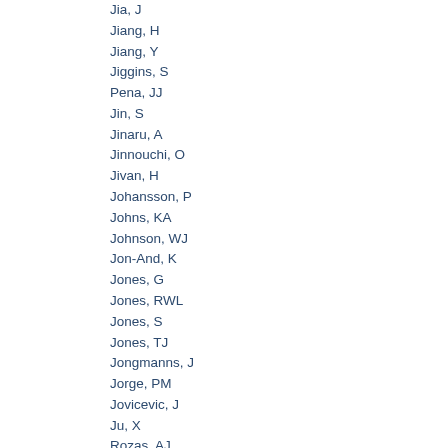Jia, J
Jiang, H
Jiang, Y
Jiggins, S
Pena, JJ
Jin, S
Jinaru, A
Jinnouchi, O
Jivan, H
Johansson, P
Johns, KA
Johnson, WJ
Jon-And, K
Jones, G
Jones, RWL
Jones, S
Jones, TJ
Jongmanns, J
Jorge, PM
Jovicevic, J
Ju, X
Rozas, AJ
Kohler, MK
Kaczmarska, A
Kado, M
Kagan, H
Kagan, M